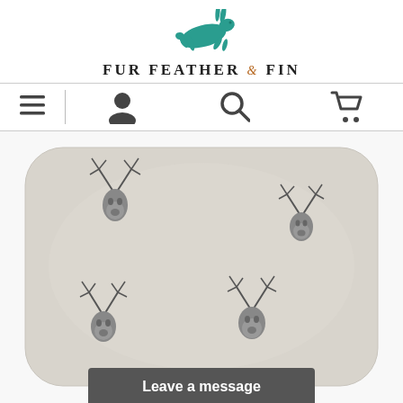[Figure (logo): Fur Feather & Fin brand logo with teal running hare above the brand name text]
FUR FEATHER & FIN
[Figure (screenshot): Navigation bar with hamburger menu, user account icon, search icon, and shopping cart icon]
[Figure (photo): A light grey cushion/pillow with embroidered stag head motifs scattered across the fabric - four stag heads visible]
Leave a message